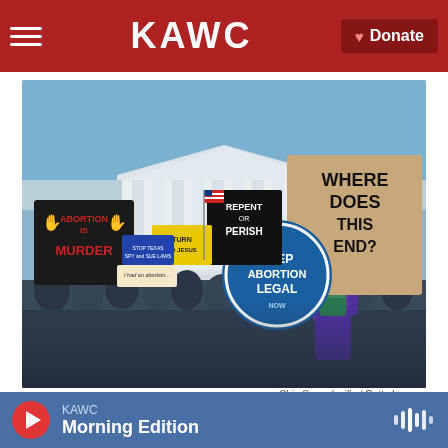KAWC | Donate
[Figure (photo): Protesters outside the US Supreme Court building holding signs including 'Abortion is Murder', 'Keep Abortion Legal', 'Repent or Perish', 'Where Does This End?', and others. Mixed pro-life and pro-choice demonstrators.]
Chip Somodevilla / Getty Images
KAWC Morning Edition